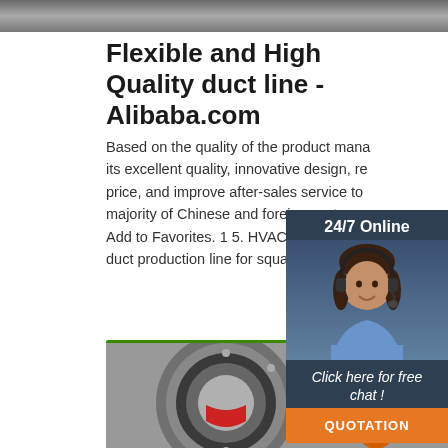[Figure (photo): Top photo strip showing industrial machinery, partially cropped at top]
Flexible and High Quality duct line - Alibaba.com
Based on the quality of the product mana its excellent quality, innovative design, re price, and improve after-sales service to majority of Chinese and foreign custome Add to Favorites. 1 5. HVAC Auto rectan duct production line for square air duct m
[Figure (photo): Customer service representative with headset - 24/7 Online chat widget overlay with 'Click here for free chat!' and QUOTATION button]
[Figure (other): Get Price green button]
[Figure (photo): Bottom photo showing industrial machinery parts including a circular flange and orange mechanical component]